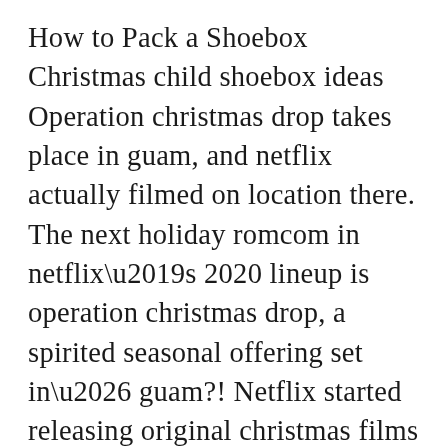How to Pack a Shoebox Christmas child shoebox ideas Operation christmas drop takes place in guam, and netflix actually filmed on location there. The next holiday romcom in netflix’s 2020 lineup is operation christmas drop, a spirited seasonal offering set in… guam?! Netflix started releasing original christmas films in 2017 when a christmas prince and christmas inheritance both premiered. Netflix’s christmas movie choices never disappoint, and this year there are more than ever. Holidate and